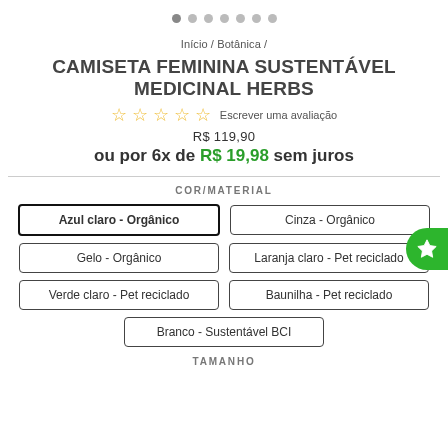[Figure (other): Carousel navigation dots, first dot active]
Início / Botânica /
CAMISETA FEMININA SUSTENTÁVEL MEDICINAL HERBS
☆☆☆☆☆ Escrever uma avaliação
R$ 119,90
ou por 6x de R$ 19,98 sem juros
COR/MATERIAL
Azul claro - Orgânico
Cinza - Orgânico
Gelo - Orgânico
Laranja claro - Pet reciclado
Verde claro - Pet reciclado
Baunilha - Pet reciclado
Branco - Sustentável BCI
TAMANHO